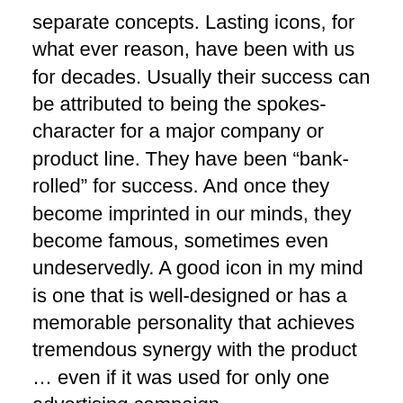separate concepts. Lasting icons, for what ever reason, have been with us for decades. Usually their success can be attributed to being the spokes-character for a major company or product line. They have been “bank-rolled” for success. And once they become imprinted in our minds, they become famous, sometimes even undeservedly. A good icon in my mind is one that is well-designed or has a memorable personality that achieves tremendous synergy with the product … even if it was used for only one advertising campaign.
In regards to “personality,” simply put, an advertising character, whether fictional or real, has a face. Whether it be man, woman or anthropomorphic fruit or vegetable, having those eyes and mouth makes them “human.” And with human features they elicit empathy as well as gain our attention. Although Kellogg’s has a distinctive logotype for its products it could never compete with the benefits they’ve gotten from Tony the Tiger, touting the greatness of Frosted Flakes or Toucan Sam promoting